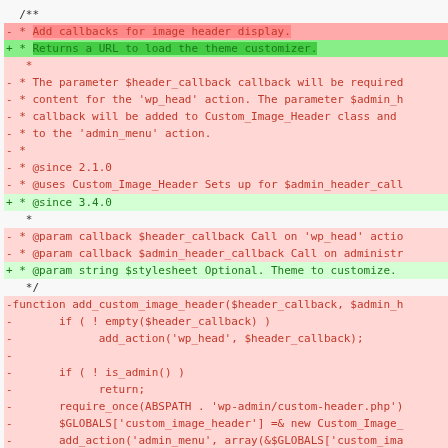[Figure (screenshot): Code diff view showing changes to PHP functions in a WordPress file. Red lines are removed, green lines are added, with highlighted diff markers.]